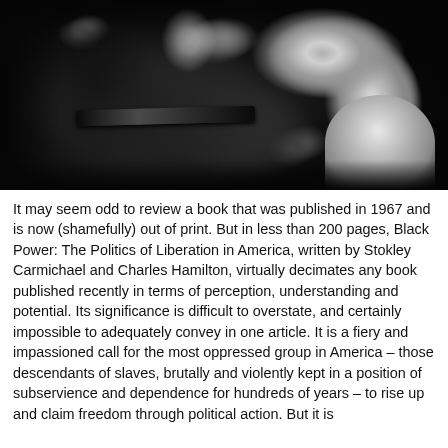[Figure (photo): Black and white photograph showing a close-up scene, likely of a person with a belt/strap visible, with another person's hands or arms visible on the right side. High contrast grainy monochrome image.]
It may seem odd to review a book that was published in 1967 and is now (shamefully) out of print. But in less than 200 pages, Black Power: The Politics of Liberation in America, written by Stokley Carmichael and Charles Hamilton, virtually decimates any book published recently in terms of perception, understanding and potential. Its significance is difficult to overstate, and certainly impossible to adequately convey in one article. It is a fiery and impassioned call for the most oppressed group in America – those descendants of slaves, brutally and violently kept in a position of subservience and dependence for hundreds of years – to rise up and claim freedom through political action. But it is